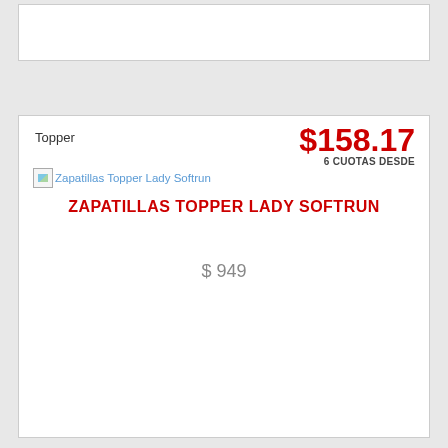Topper
$158.17
6 CUOTAS DESDE
[Figure (other): Broken image placeholder with alt text: Zapatillas Topper Lady Softrun]
ZAPATILLAS TOPPER LADY SOFTRUN
$ 949